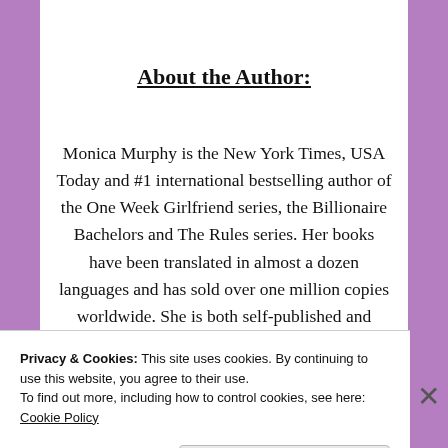About the Author:
Monica Murphy is the New York Times, USA Today and #1 international bestselling author of the One Week Girlfriend series, the Billionaire Bachelors and The Rules series. Her books have been translated in almost a dozen languages and has sold over one million copies worldwide. She is both self-published and published by Random House/Bantam and Harper Collins/Avon. She writes new adult, young adult and contemporary romance.
Privacy & Cookies: This site uses cookies. By continuing to use this website, you agree to their use.
To find out more, including how to control cookies, see here: Cookie Policy
Close and accept